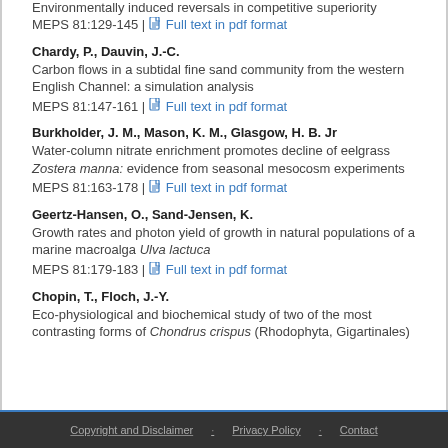Environmentally induced reversals in competitive superiority
MEPS 81:129-145 | Full text in pdf format
Chardy, P., Dauvin, J.-C.
Carbon flows in a subtidal fine sand community from the western English Channel: a simulation analysis
MEPS 81:147-161 | Full text in pdf format
Burkholder, J. M., Mason, K. M., Glasgow, H. B. Jr
Water-column nitrate enrichment promotes decline of eelgrass Zostera manna: evidence from seasonal mesocosm experiments
MEPS 81:163-178 | Full text in pdf format
Geertz-Hansen, O., Sand-Jensen, K.
Growth rates and photon yield of growth in natural populations of a marine macroalga Ulva lactuca
MEPS 81:179-183 | Full text in pdf format
Chopin, T., Floch, J.-Y.
Eco-physiological and biochemical study of two of the most contrasting forms of Chondrus crispus (Rhodophyta, Gigartinales)
Copyright and Disclaimer · Privacy Policy · Contact